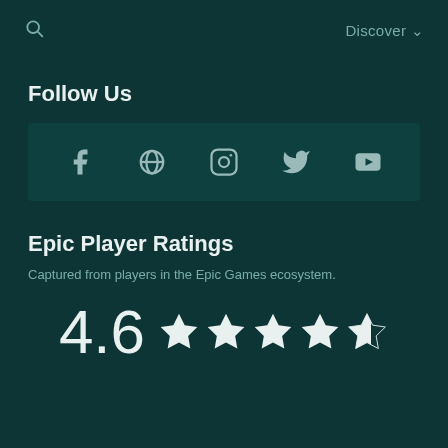Discover
Follow Us
[Figure (other): Social media icons bar: Facebook, Globe/Web, Instagram, Twitter, YouTube]
Epic Player Ratings
Captured from players in the Epic Games ecosystem.
4.6 ★★★★½